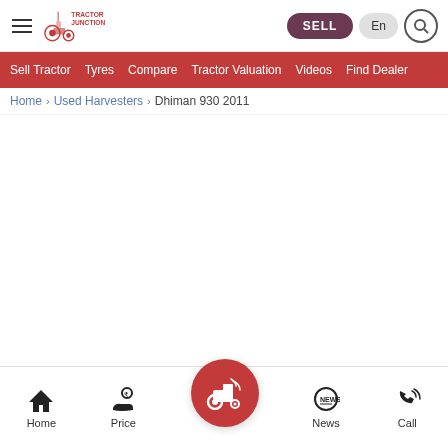Tractor Junction — navigation bar with SELL, En, and search buttons
Sell Tractor | Tyres | Compare | Tractor Valuation | Videos | Find Dealer
Home > Used Harvesters > Dhiman 930 2011
Home | Price | [Tractor Junction center button] | News | Call